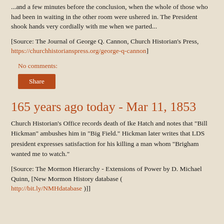...and a few minutes before the conclusion, when the whole of those who had been in waiting in the other room were ushered in. The President shook hands very cordially with me when we parted...
[Source: The Journal of George Q. Cannon, Church Historian's Press, https://churchhistorianspress.org/george-q-cannon]
No comments:
Share
165 years ago today - Mar 11, 1853
Church Historian's Office records death of Ike Hatch and notes that "Bill Hickman" ambushes him in "Big Field." Hickman later writes that LDS president expresses satisfaction for his killing a man whom "Brigham wanted me to watch."
[Source: The Mormon Hierarchy - Extensions of Power by D. Michael Quinn, [New Mormon History database ( http://bit.ly/NMHdatabase )]]